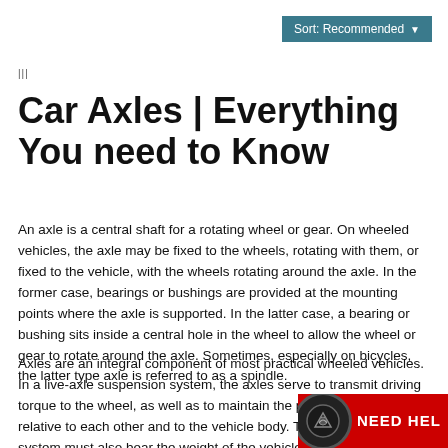Sort: Recommended
|||
Car Axles | Everything You need to Know
An axle is a central shaft for a rotating wheel or gear. On wheeled vehicles, the axle may be fixed to the wheels, rotating with them, or fixed to the vehicle, with the wheels rotating around the axle. In the former case, bearings or bushings are provided at the mounting points where the axle is supported. In the latter case, a bearing or bushing sits inside a central hole in the wheel to allow the wheel or gear to rotate around the axle. Sometimes, especially on bicycles, the latter type axle is referred to as a spindle.
Axles are an integral component of most practical wheeled vehicles. In a live-axle suspension system, the axles serve to transmit driving torque to the wheel, as well as to maintain the position of the wheels relative to each other and to the vehicle body. The axles in this system must also bear the weight of the veh... A non-driving axle, such as the front beam axle...
[Figure (logo): NEED HEL logo with red background and dark circular icon]